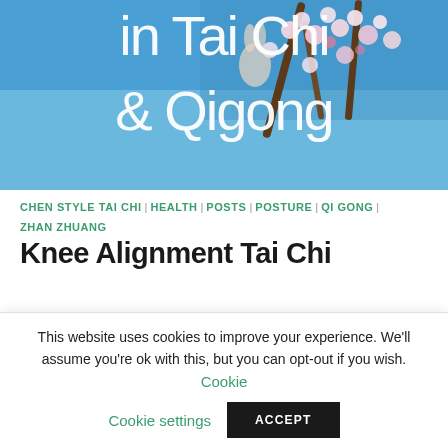[Figure (photo): Hero image of cherry blossoms against a blue sky with large white text reading 'in Tai Chi & Qigong' overlaid]
CHEN STYLE TAI CHI | HEALTH | POSTS | POSTURE | QI GONG | ZHAN ZHUANG
Knee Alignment Tai Chi
By admin • 30/09/2013
Knee Alignment Tai Chi Improving Posture in your Tai Chi
This website uses cookies to improve your experience. We'll assume you're ok with this, but you can opt-out if you wish. Cookie settings ACCEPT